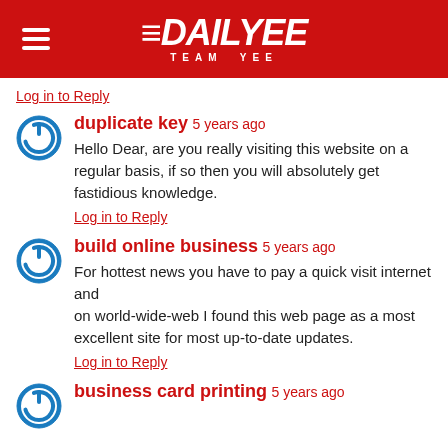DAILYEE TEAM YEE
Log in to Reply
duplicate key  5 years ago
Hello Dear, are you really visiting this website on a regular basis, if so then you will absolutely get fastidious knowledge.
Log in to Reply
build online business  5 years ago
For hottest news you have to pay a quick visit internet and on world-wide-web I found this web page as a most excellent site for most up-to-date updates.
Log in to Reply
business card printing  5 years ago